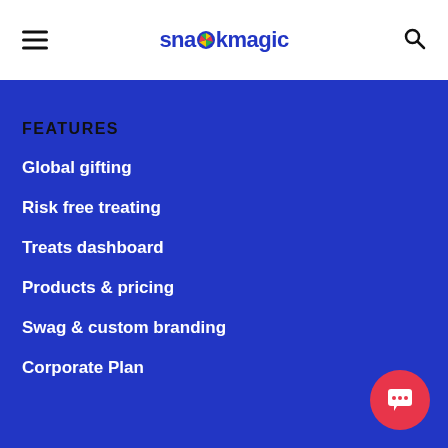snackmagic
FEATURES
Global gifting
Risk free treating
Treats dashboard
Products & pricing
Swag & custom branding
Corporate Plan